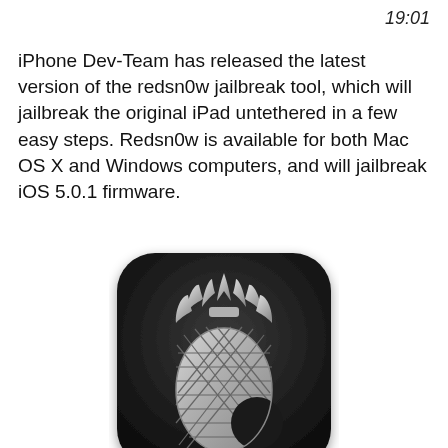19:01
iPhone Dev-Team has released the latest version of the redsn0w jailbreak tool, which will jailbreak the original iPad untethered in a few easy steps. Redsn0w is available for both Mac OS X and Windows computers, and will jailbreak iOS 5.0.1 firmware.
[Figure (logo): Redsn0w app icon: a dark rounded-square icon featuring a stylized silver/grey pineapple logo on a black background]